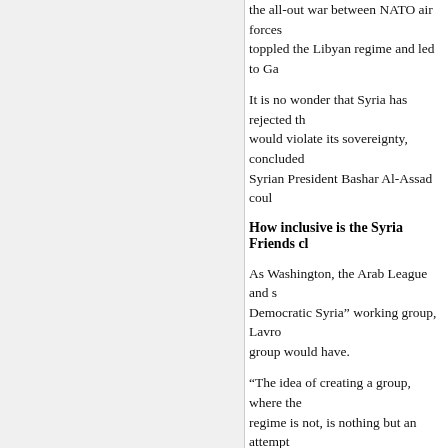the all-out war between NATO air forces toppled the Libyan regime and led to Ga
It is no wonder that Syria has rejected th would violate its sovereignty, concluded Syrian President Bashar Al-Assad coul
How inclusive is the Syria Friends cl
As Washington, the Arab League and s Democratic Syria” working group, Lavro group would have.
“The idea of creating a group, where the regime is not, is nothing but an attempt the conflict,” Lavrov told a press confere
“Everyone agrees that the Syrian natio some of our partners insist that the Syri incompatible; the dialogue is either inclu
Lavrov has once again called on the int violence carried out both by Assad’s go pro-government militias on the ground s
“We are trying to find out if the Syrian N influence at all on armed opposition gro they have no influence. We should unde Lavrov said.
{..}
February 14th, 2012, 7:14 pm